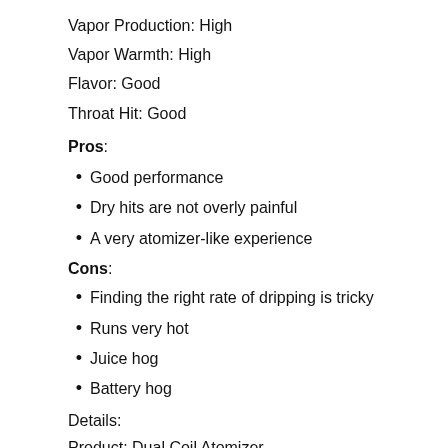Vapor Production: High
Vapor Warmth: High
Flavor: Good
Throat Hit: Good
Pros:
Good performance
Dry hits are not overly painful
A very atomizer-like experience
Cons:
Finding the right rate of dripping is tricky
Runs very hot
Juice hog
Battery hog
Details:
Product: Dual Coil Atomizer